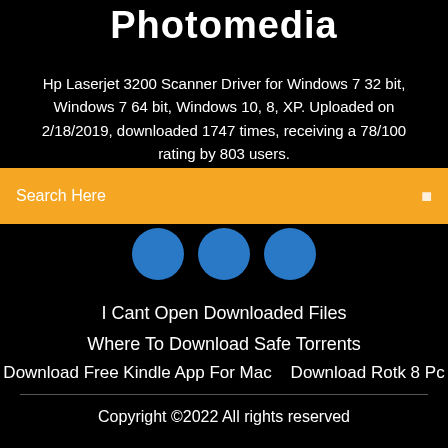Photomedia
Hp Laserjet 3200 Scanner Driver for Windows 7 32 bit, Windows 7 64 bit, Windows 10, 8, XP. Uploaded on 2/18/2019, downloaded 1747 times, receiving a 78/100 rating by 803 users.
Search Here
[Figure (illustration): Three blue circular icons/buttons side by side]
I Cant Open Downloaded Files
Where To Download Safe Torrents
Download Free Kindle App For Mac    Download Rotk 8 Pc
Copyright ©2022 All rights reserved